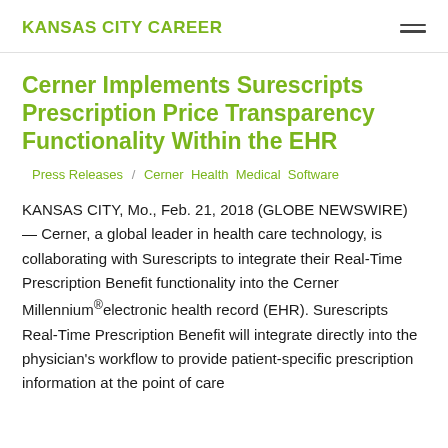KANSAS CITY CAREER
Cerner Implements Surescripts Prescription Price Transparency Functionality Within the EHR
Press Releases / Cerner Health Medical Software
KANSAS CITY, Mo., Feb. 21, 2018 (GLOBE NEWSWIRE) — Cerner, a global leader in health care technology, is collaborating with Surescripts to integrate their Real-Time Prescription Benefit functionality into the Cerner Millennium®electronic health record (EHR). Surescripts Real-Time Prescription Benefit will integrate directly into the physician's workflow to provide patient-specific prescription information at the point of care